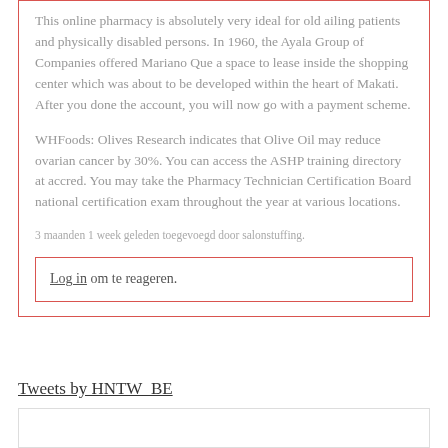This online pharmacy is absolutely very ideal for old ailing patients and physically disabled persons. In 1960, the Ayala Group of Companies offered Mariano Que a space to lease inside the shopping center which was about to be developed within the heart of Makati. After you done the account, you will now go with a payment scheme.
WHFoods: Olives Research indicates that Olive Oil may reduce ovarian cancer by 30%. You can access the ASHP training directory at accred. You may take the Pharmacy Technician Certification Board national certification exam throughout the year at various locations.
3 maanden 1 week geleden toegevoegd door salonstuffing.
Log in om te reageren.
Tweets by HNTW_BE